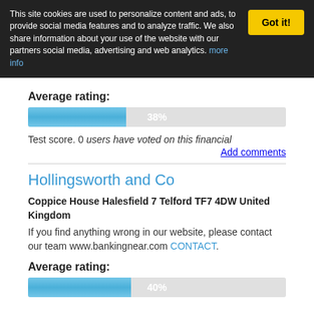This site cookies are used to personalize content and ads, to provide social media features and to analyze traffic. We also share information about your use of the website with our partners social media, advertising and web analytics. more info
Got it!
Average rating:
[Figure (bar-chart): Average rating]
Test score. 0 users have voted on this financial
Add comments
Hollingsworth and Co
Coppice House Halesfield 7 Telford TF7 4DW United Kingdom
If you find anything wrong in our website, please contact our team www.bankingnear.com CONTACT.
Average rating:
[Figure (bar-chart): Average rating]